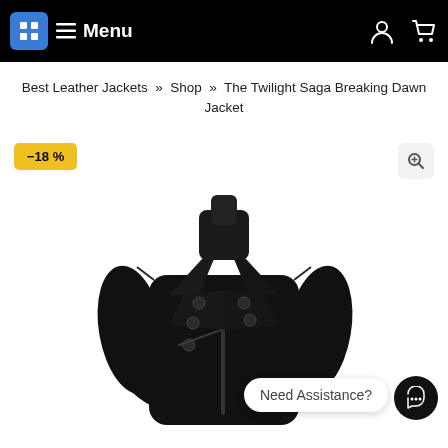Menu
Best Leather Jackets » Shop » The Twilight Saga Breaking Dawn Jacket
[Figure (photo): Black leather jacket product photo with a -18% discount badge in yellow, a zoom button in the top right, a 'Need Assistance?' chat bubble, and a dark chat bot icon in the bottom right corner.]